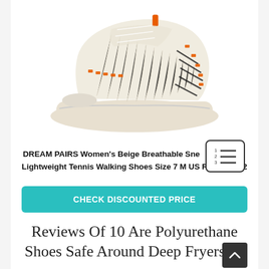[Figure (photo): A beige/cream women's athletic sneaker with orange accent details, knit upper with diagonal stripe pattern on the side, white chunky sole. Shown at a slight angle on white background.]
DREAM PAIRS Women's Beige Breathable Sneakers Lightweight Tennis Walking Shoes Size 7 M US RUNSOFT-2
CHECK DISCOUNTED PRICE
Reviews Of 10 Are Polyurethane Shoes Safe Around Deep Fryers 20